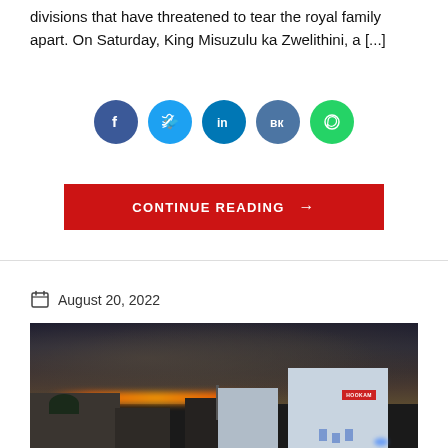divisions that have threatened to tear the royal family apart. On Saturday, King Misuzulu ka Zwelithini, a [...]
[Figure (infographic): Social share buttons: Facebook (blue circle), Twitter (blue circle), LinkedIn (blue circle), VK (blue circle), WhatsApp (green circle)]
[Figure (other): Red button with text CONTINUE READING and arrow]
August 20, 2022
[Figure (photo): Night cityscape photo showing dark smoke in the sky, fire glow on the horizon, city buildings in the foreground including a white multi-story building on the right with lit windows.]